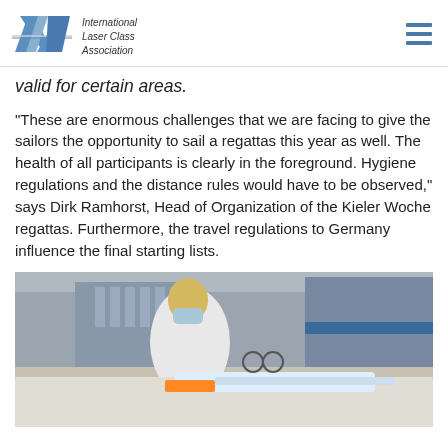International Laser Class Association
valid for certain areas.
“These are enormous challenges that we are facing to give the sailors the opportunity to sail a regattas this year as well. The health of all participants is clearly in the foreground. Hygiene regulations and the distance rules would have to be observed,” says Dirk Ramhorst, Head of Organization of the Kieler Woche regattas. Furthermore, the travel regulations to Germany influence the final starting lists.
[Figure (photo): A female sailor wearing a face mask and white jacket with ILCA branding, working on a sailing boat at the Kieler Woche venue, with buildings and other people visible in the background.]